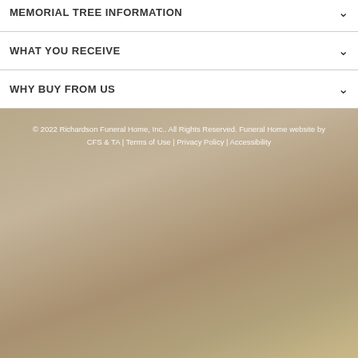MEMORIAL TREE INFORMATION
WHAT YOU RECEIVE
WHY BUY FROM US
© 2022 Richardson Funeral Home, Inc.. All Rights Reserved. Funeral Home website by CFS & TA | Terms of Use | Privacy Policy | Accessibility